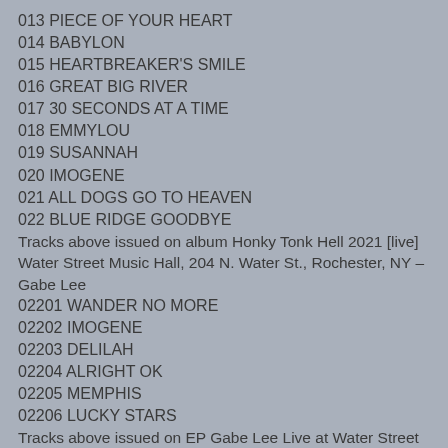013 PIECE OF YOUR HEART
014 BABYLON
015 HEARTBREAKER'S SMILE
016 GREAT BIG RIVER
017 30 SECONDS AT A TIME
018 EMMYLOU
019 SUSANNAH
020 IMOGENE
021 ALL DOGS GO TO HEAVEN
022 BLUE RIDGE GOODBYE
Tracks above issued on album Honky Tonk Hell 2021 [live] Water Street Music Hall, 204 N. Water St., Rochester, NY – Gabe Lee
02201 WANDER NO MORE
02202 IMOGENE
02203 DELILAH
02204 ALRIGHT OK
02205 MEMPHIS
02206 LUCKY STARS
Tracks above issued on EP Gabe Lee Live at Water Street Music Hall